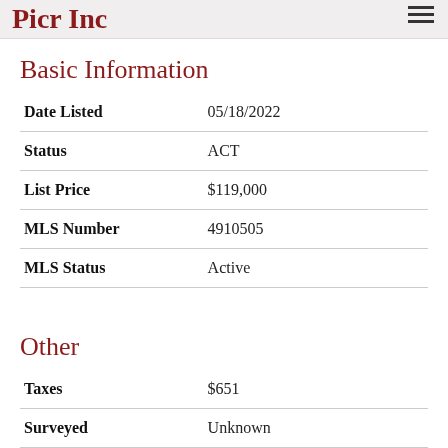Picr Inc
Basic Information
| Field | Value |
| --- | --- |
| Date Listed | 05/18/2022 |
| Status | ACT |
| List Price | $119,000 |
| MLS Number | 4910505 |
| MLS Status | Active |
Other
| Field | Value |
| --- | --- |
| Taxes | $651 |
| Surveyed | Unknown |
| Zoning | R... |